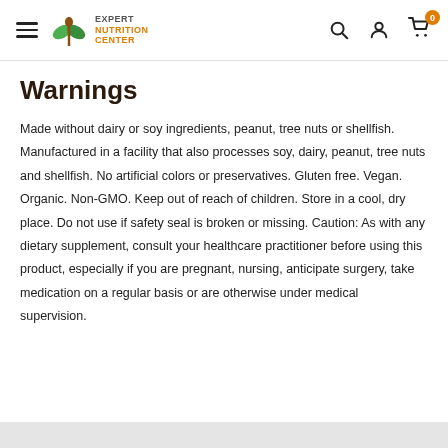Expert Nutrition Center — navigation header with hamburger menu, logo, search, account, and cart icons
Warnings
Made without dairy or soy ingredients, peanut, tree nuts or shellfish. Manufactured in a facility that also processes soy, dairy, peanut, tree nuts and shellfish. No artificial colors or preservatives. Gluten free. Vegan. Organic. Non-GMO. Keep out of reach of children. Store in a cool, dry place. Do not use if safety seal is broken or missing. Caution: As with any dietary supplement, consult your healthcare practitioner before using this product, especially if you are pregnant, nursing, anticipate surgery, take medication on a regular basis or are otherwise under medical supervision.